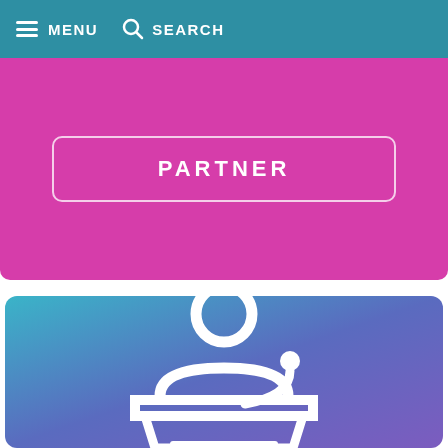MENU  SEARCH
PARTNER
[Figure (illustration): A white icon of a person standing at a podium/lectern, on a blue-to-purple gradient background. The figure has a circular head outline and arms resting on a podium shape with a microphone.]